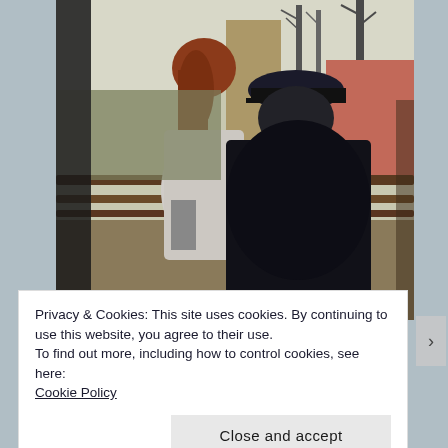[Figure (photo): Two people viewed from behind, standing at a wooden fence railing in an outdoor rural setting. One person has reddish-brown hair wearing a light jacket; the other wears a dark jacket and dark cap. Background shows stone/mud structures, bare trees, and a reddish wall.]
Privacy & Cookies: This site uses cookies. By continuing to use this website, you agree to their use.
To find out more, including how to control cookies, see here:
Cookie Policy
Close and accept